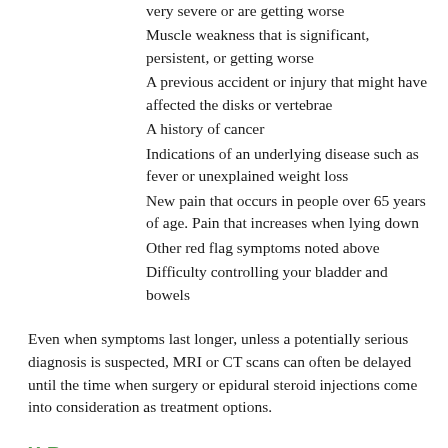very severe or are getting worse
Muscle weakness that is significant, persistent, or getting worse
A previous accident or injury that might have affected the disks or vertebrae
A history of cancer
Indications of an underlying disease such as fever or unexplained weight loss
New pain that occurs in people over 65 years of age. Pain that increases when lying down
Other red flag symptoms noted above
Difficulty controlling your bladder and bowels
Even when symptoms last longer, unless a potentially serious diagnosis is suspected, MRI or CT scans can often be delayed until the time when surgery or epidural steroid injections come into consideration as treatment options.
X-Rays